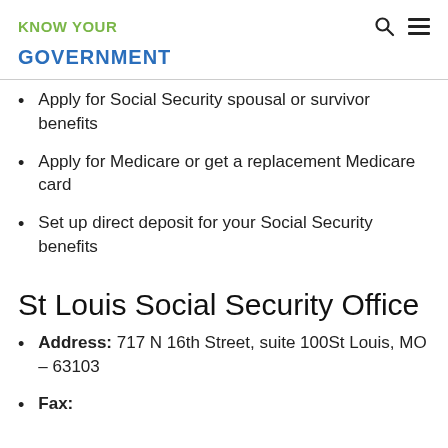KNOW YOUR
GOVERNMENT
Apply for Social Security spousal or survivor benefits
Apply for Medicare or get a replacement Medicare card
Set up direct deposit for your Social Security benefits
St Louis Social Security Office
Address: 717 N 16th Street, suite 100St Louis, MO – 63103
Fax: